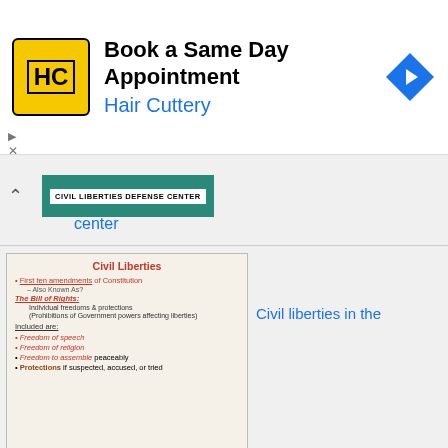[Figure (screenshot): Advertisement banner for Hair Cuttery: Book a Same Day Appointment with logo and navigation arrow icon]
[Figure (screenshot): Civil Liberties Defense Center logo header partial screenshot]
center
[Figure (screenshot): Slide image: Civil Liberties - First ten amendments of Constitution, Also Known As? The Bill of Rights: Individual freedoms & protections (Prohibitions of Government powers affecting liberties). Included are: Freedom of speech, Freedom of religion, Freedom to assemble peaceably, Protections if suspected, accused, or tried]
Civil liberties in the
constitution
[Figure (screenshot): AP Government: Chapter 4 - Civil Liberties and Public Policy slide with cartoon image illustrating freedoms]
Civil liberties ap gov